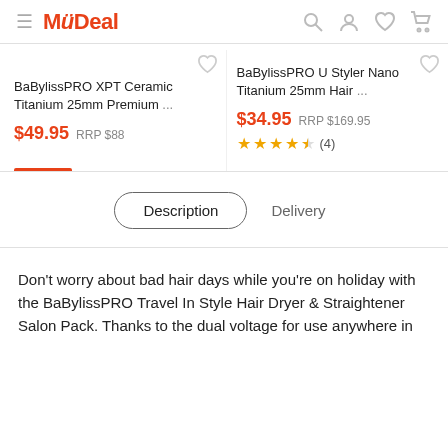MyDeal
BaBylissPRO XPT Ceramic Titanium 25mm Premium ... $49.95 RRP $88
BaBylissPRO U Styler Nano Titanium 25mm Hair ... $34.95 RRP $169.95 ★★★★½ (4)
Description  Delivery
Don't worry about bad hair days while you're on holiday with the BaBylissPRO Travel In Style Hair Dryer & Straightener Salon Pack. Thanks to the dual voltage for use anywhere in